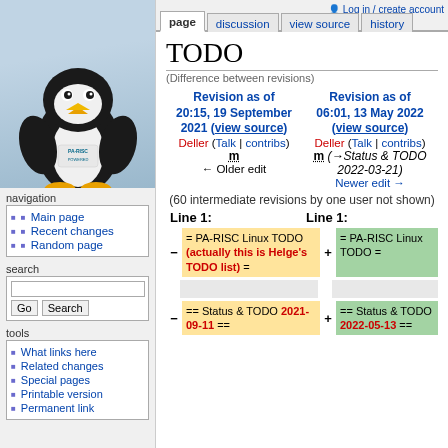Log in / create account
page | discussion | view source | history
[Figure (illustration): Tux the Linux penguin with PA-RISC logo on chest, sitting on gray-blue background]
navigation
Main page
Recent changes
Random page
search
tools
What links here
Related changes
Special pages
Printable version
Permanent link
TODO
(Difference between revisions)
| Revision as of 20:15, 19 September 2021 (view source) | Revision as of 06:01, 13 May 2022 (view source) |
| --- | --- |
| Deller (Talk | contribs) | Deller (Talk | contribs) |
| m ← Older edit | m (→Status & TODO 2022-03-21) Newer edit → |
(60 intermediate revisions by one user not shown)
Line 1: Line 1:
| - | = PA-RISC Linux TODO (actually this is Helge's TODO list) = | + | = PA-RISC Linux TODO = |
| --- | --- | --- | --- |
| - | == Status & TODO 2021-09-11 == | + | == Status & TODO 2022-05-13 == |
| --- | --- | --- | --- |